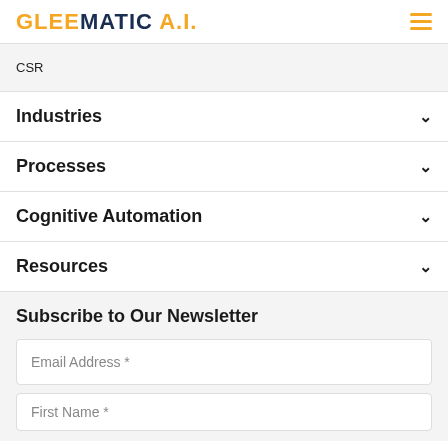GLEEMATIC A.I.
CSR
Industries
Processes
Cognitive Automation
Resources
Subscribe to Our Newsletter
Email Address *
First Name *